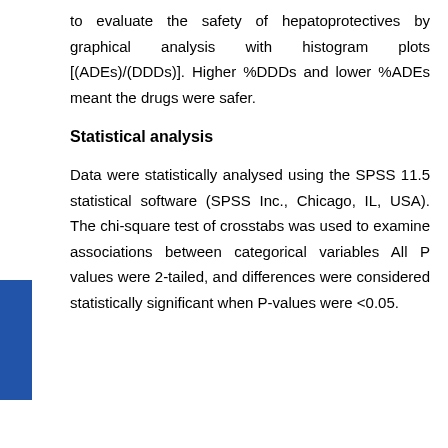to evaluate the safety of hepatoprotectives by graphical analysis with histogram plots [(ADEs)/(DDDs)]. Higher %DDDs and lower %ADEs meant the drugs were safer.
Statistical analysis
Data were statistically analysed using the SPSS 11.5 statistical software (SPSS Inc., Chicago, IL, USA). The chi-square test of crosstabs was used to examine associations between categorical variables All P values were 2-tailed, and differences were considered statistically significant when P-values were <0.05.